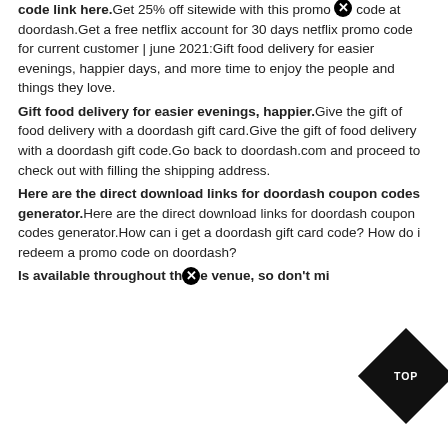code link here.Get 25% off sitewide with this promo code at doordash.Get a free netflix account for 30 days netflix promo code for current customer | june 2021:Gift food delivery for easier evenings, happier days, and more time to enjoy the people and things they love.
Gift food delivery for easier evenings, happier.Give the gift of food delivery with a doordash gift card.Give the gift of food delivery with a doordash gift code.Go back to doordash.com and proceed to check out with filling the shipping address.
Here are the direct download links for doordash coupon codes generator.Here are the direct download links for doordash coupon codes generator.How can i get a doordash gift card code? How do i redeem a promo code on doordash?
Is available throughout the venue, so don't mi...